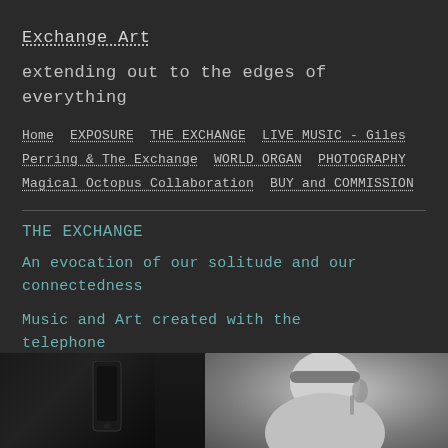Exchange Art
extending out to the edges of everything
Home  EXPOSURE  THE EXCHANGE  LIVE MUSIC - Giles Perring & The Exchange  WORLD ORGAN  PHOTOGRAPHY  Magical Octopus Collaboration  BUY and COMMISSION
THE EXCHANGE
An evocation of our solitude and our connectedness
Music and Art created with the telephone
[Figure (photo): Black and white photograph showing two panels: left panel is dark with a phone silhouette, right panel shows a person wearing headphones and holding a phone to their ear]